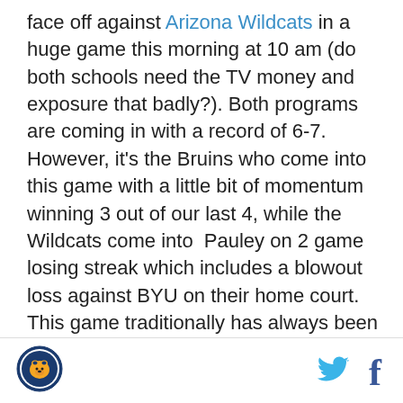face off against Arizona Wildcats in a huge game this morning at 10 am (do both schools need the TV money and exposure that badly?). Both programs are coming in with a record of 6-7. However, it's the Bruins who come into this game with a little bit of momentum winning 3 out of our last 4, while the Wildcats come into  Pauley on 2 game losing streak which includes a blowout loss against BYU on their home court. This game traditionally has always been one of the biggest games in the Western US. It might not be the marquee matchup recordwise this season, however this game is as big as it gets for both program because it can mark as potential turning points heading into rest of the Pac-10 season.
[Figure (logo): Round logo with golden bear, blue circular border]